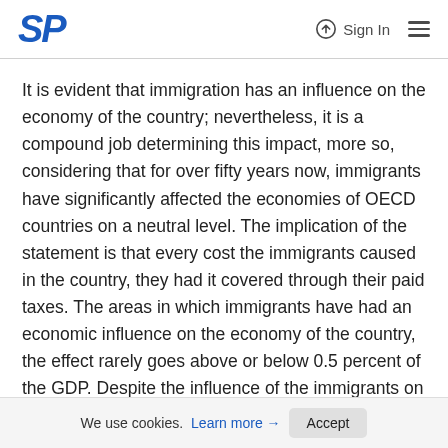SP | Sign In
It is evident that immigration has an influence on the economy of the country; nevertheless, it is a compound job determining this impact, more so, considering that for over fifty years now, immigrants have significantly affected the economies of OECD countries on a neutral level. The implication of the statement is that every cost the immigrants caused in the country, they had it covered through their paid taxes. The areas in which immigrants have had an economic influence on the economy of the country, the effect rarely goes above or below 0.5 percent of the GDP. Despite the influence of the immigrants on the economy being neutral, its favorability in comparison to the native-born Americans is minimal. The implication herein is that in spite of them not being a significant burden on the spending part of the economy of the country, they are
We use cookies. Learn more → Accept